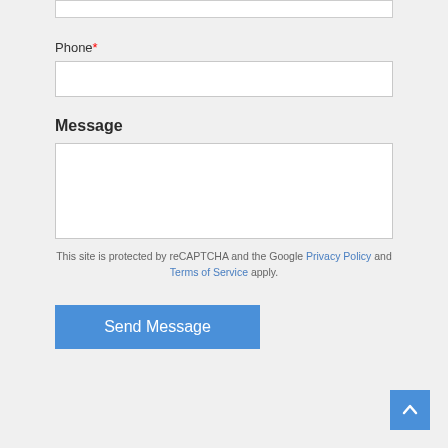Phone*
Message
This site is protected by reCAPTCHA and the Google Privacy Policy and Terms of Service apply.
Send Message